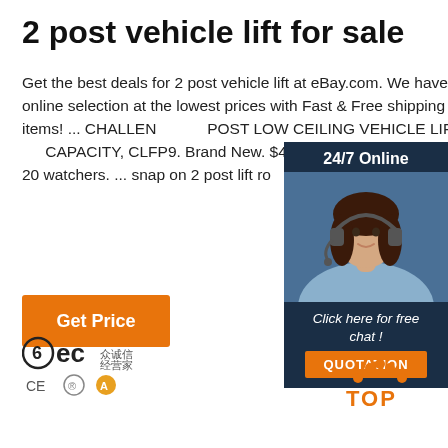2 post vehicle lift for sale
Get the best deals for 2 post vehicle lift at eBay.com. We have a great online selection at the lowest prices with Fast & Free shipping on many items! ... CHALLENGER 2 POST LOW CEILING VEHICLE LIFT - 9000 LB CAPACITY, CLFP9. Brand New. $4,560.00. or Best Offer. Freight. 20 watchers. ... snap on 2 post lift ro... SVL35 3.5ton 8500mm ...
[Figure (other): Orange 'Get Price' button]
[Figure (infographic): Chat widget with '24/7 Online' label, photo of a woman with headset, 'Click here for free chat!' text, and orange QUOTATION button]
[Figure (logo): BEC certification logo with CE and other marks]
[Figure (logo): TOP navigation icon with orange dots and red TOP text]